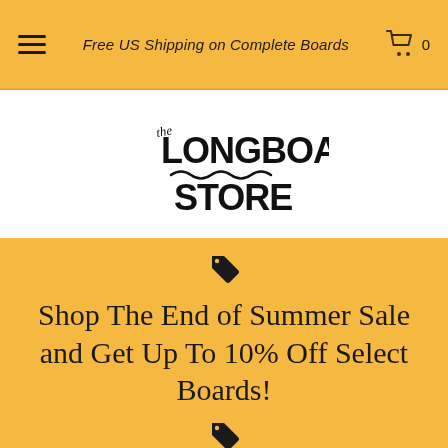Free US Shipping on Complete Boards
[Figure (logo): The Longboard Store logo — stylized hand-lettered text reading 'the LONGBOARD STORE' with decorative wave/mountain motifs]
Shop The End of Summer Sale and Get Up To 10% Off Select Boards!
Showing 1 of 49 products. Show All
Sort By: Featured Items